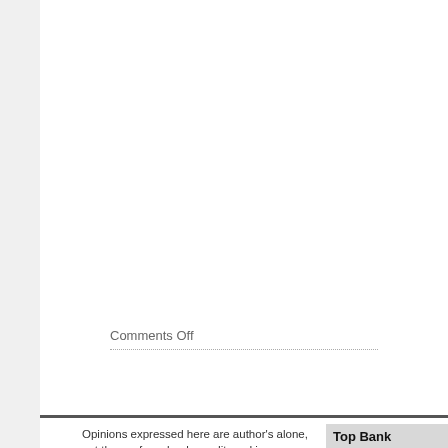Comments Off
Opinions expressed here are author's alone, not those of any bank, credit card issuer,
Top Bank Promotion